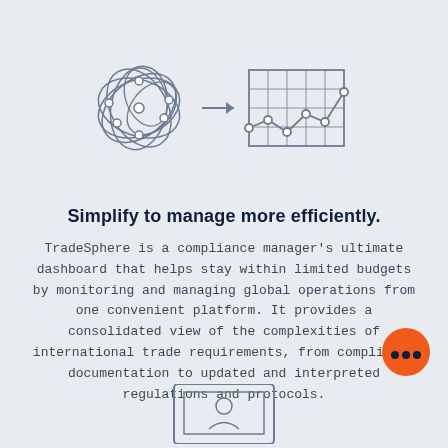[Figure (illustration): Two icons connected by an arrow: left icon shows a tangled network/complexity ball with nodes, right icon shows a line chart on a grid representing organized data/clarity]
Simplify to manage more efficiently.
TradeSphere is a compliance manager's ultimate dashboard that helps stay within limited budgets by monitoring and managing global operations from one convenient platform. It provides a consolidated view of the complexities of international trade requirements, from compliance documentation to updated and interpreted regulations and protocols.
[Figure (illustration): Partially visible bottom illustration showing a laptop/monitor with a person icon, cut off at page bottom]